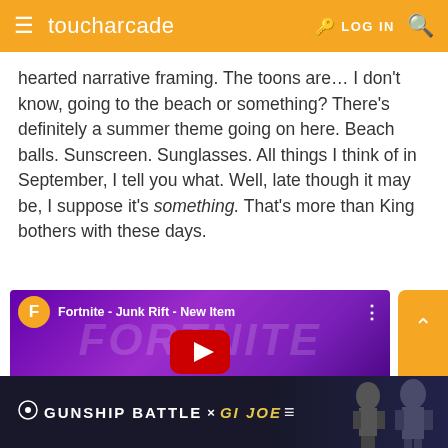toucharcade | LOG IN
hearted narrative framing. The toons are… I don't know, going to the beach or something? There's definitely a summer theme going on here. Beach balls. Sunscreen. Sunglasses. All things I think of in September, I tell you what. Well, late though it may be, I suppose it's something. That's more than King bothers with these days.
[Figure (screenshot): YouTube embed thumbnail for 'Fortnite - Junk Rift - New Item' video, showing Fortnite logo on purple background with YouTube play button]
[Figure (photo): Advertisement banner for Gunship Battle x G.I. Joe collaboration, showing armored characters on dark background]